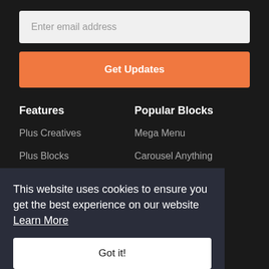Enter email address
Get Updates
Features
Popular Blocks
Plus Creatives
Mega Menu
Plus Blocks
Carousel Anything
ler FREE
d Charts
y Paste
Content
This website uses cookies to ensure you get the best experience on our website Learn More
Got it!